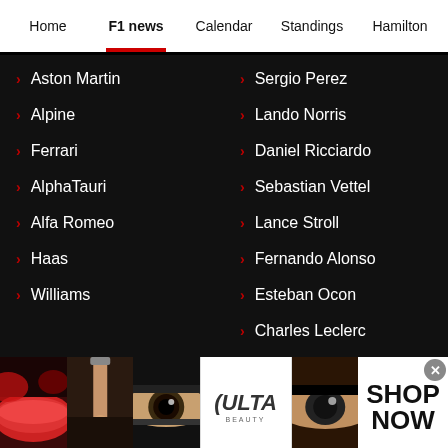Home | F1 news | Calendar | Standings | Hamilton
Aston Martin
Alpine
Ferrari
AlphaTauri
Alfa Romeo
Haas
Williams
Sergio Perez
Lando Norris
Daniel Ricciardo
Sebastian Vettel
Lance Stroll
Fernando Alonso
Esteban Ocon
Charles Leclerc
Carlos Sainz
Pierre Gasly
[Figure (illustration): ULTA Beauty advertisement banner with makeup product images]